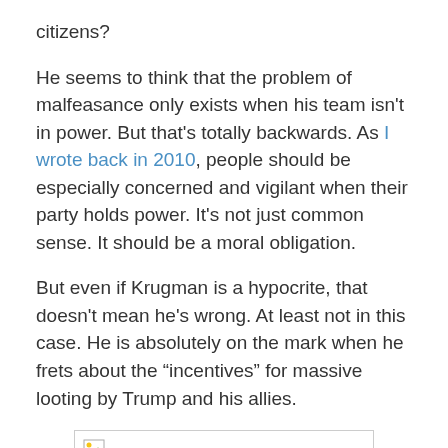citizens?
He seems to think that the problem of malfeasance only exists when his team isn't in power. But that's totally backwards. As I wrote back in 2010, people should be especially concerned and vigilant when their party holds power. It's not just common sense. It should be a moral obligation.
But even if Krugman is a hypocrite, that doesn't mean he's wrong. At least not in this case. He is absolutely on the mark when he frets about the “incentives” for massive looting by Trump and his allies.
[Figure (other): Broken/missing image placeholder with small image icon in top-left corner]